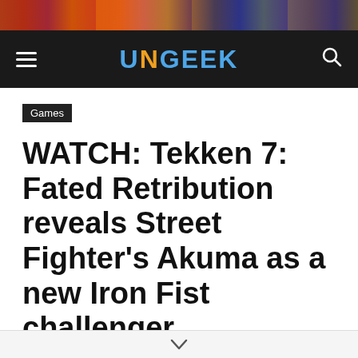[Figure (screenshot): Top image strip showing a colorful game banner/advertisement]
UNGEEK
Games
WATCH: Tekken 7: Fated Retribution reveals Street Fighter's Akuma as a new Iron Fist challenger